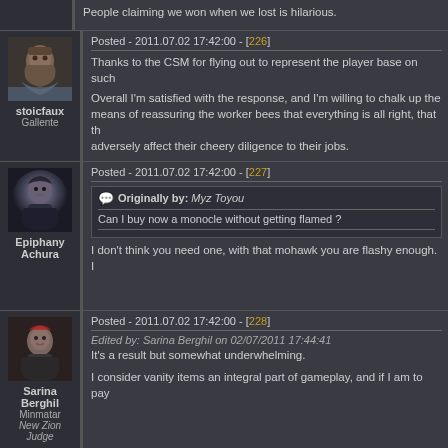People claiming we won when we lost is hilarious.
Posted - 2011.07.02 17:42:00 - [226]
Thanks to the CSM for flying out to represent the player base on such
Overall I'm satisfied with the response, and I'm willing to chalk up the means of reassuring the worker bees that everything is all right, that th adversely affect their cheery diligence to their jobs.
stoicfaux
Gallente
Posted - 2011.07.02 17:42:00 - [227]
Originally by: Myz Toyou
Can I buy now a monocle without getting flamed ?
I don't think you need one, with that mohawk you are flashy enough. I
Epiphany Achura
Posted - 2011.07.02 17:42:00 - [228]
Edited by: Sarina Berghil on 02/07/2011 17:44:41
It's a result but somewhat underwhelming.
I consider vanity items an integral part of gameplay, and if I am to pay
Sarina Berghil
Minmatar
New Zion Judge